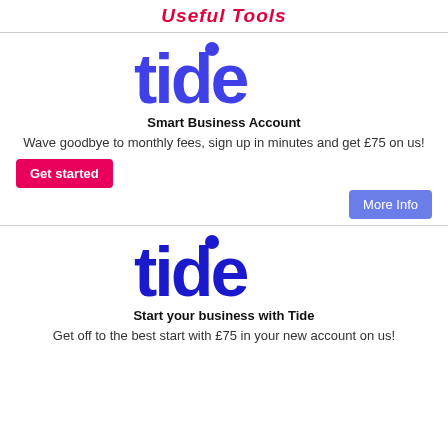Useful Tools
[Figure (logo): Tide brand logo in blue, lowercase 'tide' with dot above i]
Smart Business Account
Wave goodbye to monthly fees, sign up in minutes and get £75 on us!
Get started
More Info
[Figure (logo): Tide brand logo in dark blue, lowercase 'tide' with dot above i]
Start your business with Tide
Get off to the best start with £75 in your new account on us!